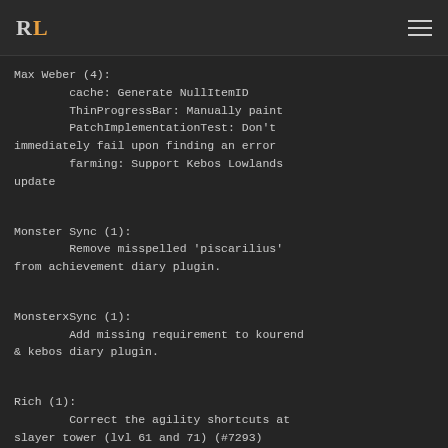RL ≡
Max Weber (4):
        cache: Generate NullItemID
        ThinProgressBar: Manually paint
        PatchImplementationTest: Don't immediately fail upon finding an error
        farming: Support Kebos Lowlands update
Monster Sync (1):
        Remove misspelled 'piscarilius' from achievement diary plugin.
MonsterxSync (1):
        Add missing requirement to kourend & kebos diary plugin.
Rich (1):
        Correct the agility shortcuts at slayer tower (lvl 61 and 71) (#7293)